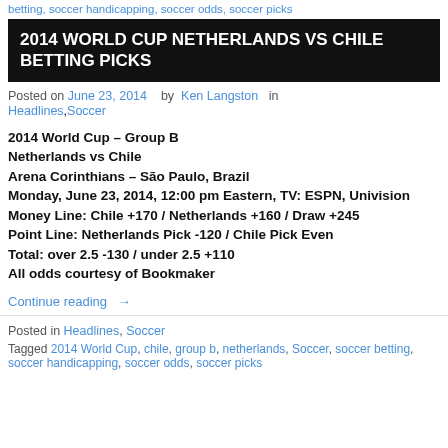betting, soccer handicapping, soccer odds, soccer picks
2014 WORLD CUP NETHERLANDS VS CHILE BETTING PICKS
Posted on June 23, 2014   by  Ken Langston  in
Headlines, Soccer
2014 World Cup – Group B
Netherlands vs Chile
Arena Corinthians – São Paulo, Brazil
Monday, June 23, 2014, 12:00 pm Eastern, TV: ESPN, Univision
Money Line: Chile +170 / Netherlands +160 / Draw +245
Point Line: Netherlands Pick -120 / Chile Pick Even
Total: over 2.5 -130 / under 2.5 +110
All odds courtesy of Bookmaker
Continue reading →
Posted in Headlines, Soccer
Tagged 2014 World Cup, chile, group b, netherlands, Soccer, soccer betting, soccer handicapping, soccer odds, soccer picks